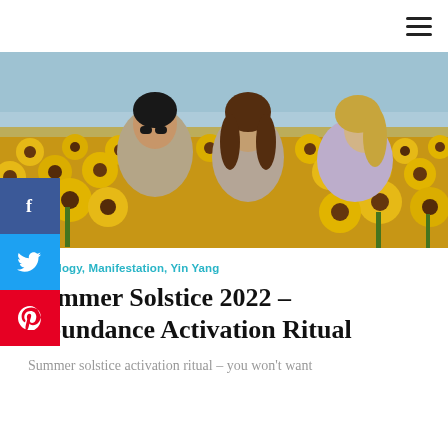≡ (hamburger menu icon)
[Figure (photo): Three young women smiling and laughing in a sunflower field under a blue sky. The woman on the left wears sunglasses and a gray top, the middle woman has long brown hair, and the woman on the right has blonde hair and wears a light purple top.]
Astrology, Manifestation, Yin Yang
Summer Solstice 2022 – Abundance Activation Ritual
Summer solstice activation ritual – you won't want